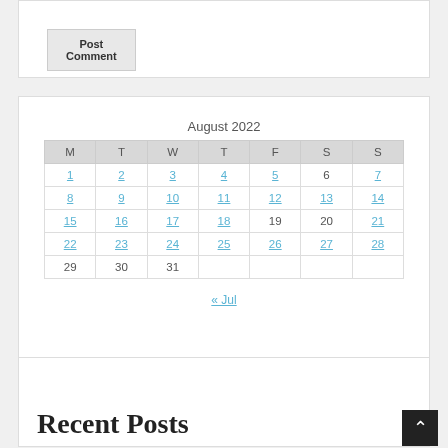Post Comment
| M | T | W | T | F | S | S |
| --- | --- | --- | --- | --- | --- | --- |
| 1 | 2 | 3 | 4 | 5 | 6 | 7 |
| 8 | 9 | 10 | 11 | 12 | 13 | 14 |
| 15 | 16 | 17 | 18 | 19 | 20 | 21 |
| 22 | 23 | 24 | 25 | 26 | 27 | 28 |
| 29 | 30 | 31 |  |  |  |  |
« Jul
Recent Posts